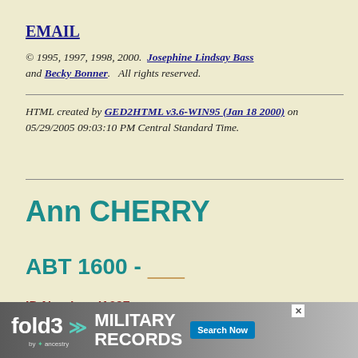EMAIL
© 1995, 1997, 1998, 2000.  Josephine Lindsay Bass and Becky Bonner.   All rights reserved.
HTML created by GED2HTML v3.6-WIN95 (Jan 18 2000) on 05/29/2005 09:03:10 PM Central Standard Time.
Ann CHERRY
ABT 1600 - ____
ID Number: I1697
[Figure (other): Fold3 by Ancestry military records advertisement banner]